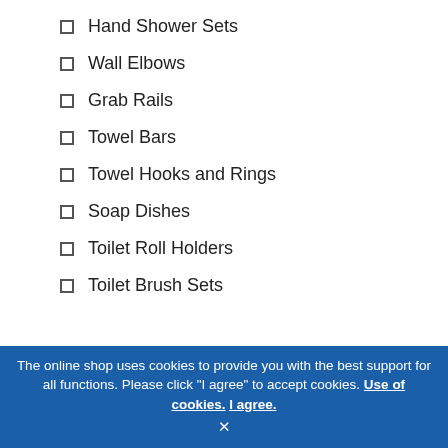Hand Shower Sets
Wall Elbows
Grab Rails
Towel Bars
Towel Hooks and Rings
Soap Dishes
Toilet Roll Holders
Toilet Brush Sets
Tumblers & Tumbler Holders
The online shop uses cookies to provide you with the best support for all functions. Please click "I agree" to accept cookies. Use of cookies. I agree. ×